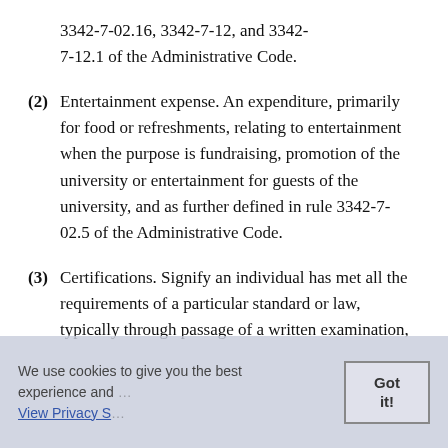3342-7-02.16, 3342-7-12, and 3342-7-12.1 of the Administrative Code.
(2) Entertainment expense. An expenditure, primarily for food or refreshments, relating to entertainment when the purpose is fundraising, promotion of the university or entertainment for guests of the university, and as further defined in rule 3342-7-02.5 of the Administrative Code.
(3) Certifications. Signify an individual has met all the requirements of a particular standard or law, typically through passage of a written examination,